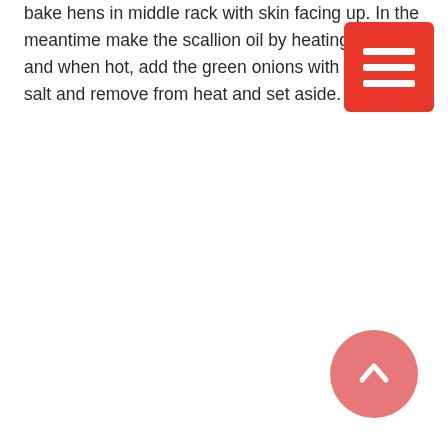bake hens in middle rack with skin facing up. In the meantime make the scallion oil by heating the coo and when hot, add the green onions with a sprink salt and remove from heat and set aside.
[Figure (other): Red hamburger menu button (three horizontal white bars on red background) in the top-right corner]
[Figure (other): Salmon/coral colored circular scroll-to-top button with upward chevron arrow in the bottom-right corner]